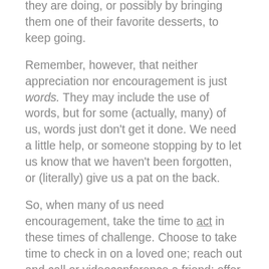they are doing, or possibly by bringing them one of their favorite desserts, to keep going.
Remember, however, that neither appreciation nor encouragement is just words. They may include the use of words, but for some (actually, many) of us, words just don't get it done. We need a little help, or someone stopping by to let us know that we haven't been forgotten, or (literally) give us a pat on the back.
So, when many of us need encouragement, take the time to act in these times of challenge. Choose to take time to check in on a loved one; reach out and call or videoconference a friend; offer to do something that will lighten their load a bit. Don't just think about it. Do something for